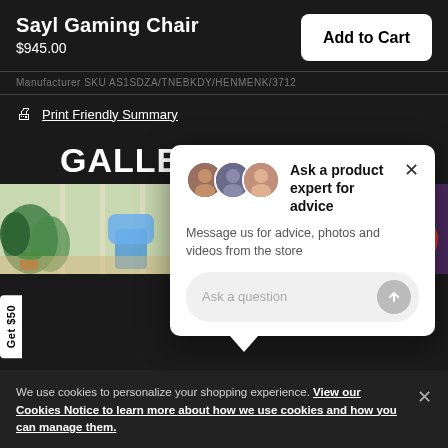Sayl Gaming Chair
$945.00
Add to Cart
Manufacturer SKU AS1SDZA/TNEBKDY/HENMENK/3712
Print Friendly Summary
[Figure (screenshot): Popup chat widget: Ask a product expert for advice. Message us for advice, photos and videos from the store. Ask a question input field.]
Get $50
GALLERY
[Figure (photo): Two gallery images of rooms with gaming chair. Left image shows bright room with plants and window. Right image shows dark gaming setup room. Red circular chat button overlay in bottom-right corner.]
We use cookies to personalize your shopping experience. View our Cookies Notice to learn more about how we use cookies and how you can manage them.